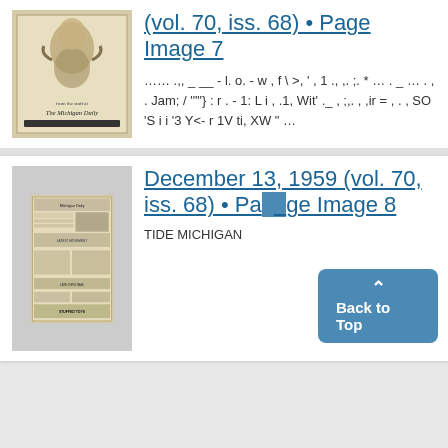[Figure (illustration): Thumbnail image of a Michigan Daily newspaper page showing a decorative illustration with a figure and text reading 'from the staff at The Michigan Daily']
(vol. 70, iss. 68) • Page Image 7
…… .,, _ __ - l. o. - w , f \ >, ' , 1 ., ,. ;. * … . _ … . , . Jam; / '""} : r . - 1: L i , .1, Wit' ._ , ;,. , ,ir = , . , SO 'S i i '3 Y<- r 1V ti, XW " …
[Figure (photo): Thumbnail image of a Michigan Daily newspaper front page from December 13, 1959 showing advertisements including 'STUFFED TOYS' and other content]
December 13, 1959 (vol. 70, iss. 68) • Page Image 8
TIDE MICHIGAN